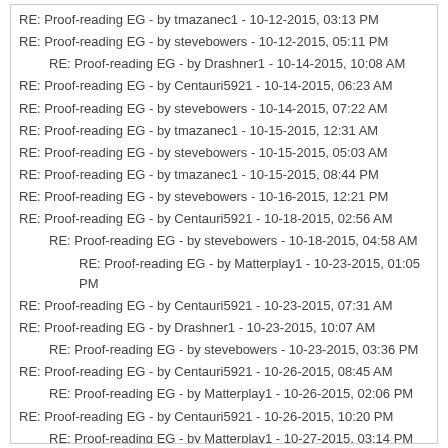RE: Proof-reading EG - by tmazanec1 - 10-12-2015, 03:13 PM
RE: Proof-reading EG - by stevebowers - 10-12-2015, 05:11 PM
RE: Proof-reading EG - by Drashner1 - 10-14-2015, 10:08 AM
RE: Proof-reading EG - by Centauri5921 - 10-14-2015, 06:23 AM
RE: Proof-reading EG - by stevebowers - 10-14-2015, 07:22 AM
RE: Proof-reading EG - by tmazanec1 - 10-15-2015, 12:31 AM
RE: Proof-reading EG - by stevebowers - 10-15-2015, 05:03 AM
RE: Proof-reading EG - by tmazanec1 - 10-15-2015, 08:44 PM
RE: Proof-reading EG - by stevebowers - 10-16-2015, 12:21 PM
RE: Proof-reading EG - by Centauri5921 - 10-18-2015, 02:56 AM
RE: Proof-reading EG - by stevebowers - 10-18-2015, 04:58 AM
RE: Proof-reading EG - by Matterplay1 - 10-23-2015, 01:05 PM
RE: Proof-reading EG - by Centauri5921 - 10-23-2015, 07:31 AM
RE: Proof-reading EG - by Drashner1 - 10-23-2015, 10:07 AM
RE: Proof-reading EG - by stevebowers - 10-23-2015, 03:36 PM
RE: Proof-reading EG - by Centauri5921 - 10-26-2015, 08:45 AM
RE: Proof-reading EG - by Matterplay1 - 10-26-2015, 02:06 PM
RE: Proof-reading EG - by Centauri5921 - 10-26-2015, 10:20 PM
RE: Proof-reading EG - by Matterplay1 - 10-27-2015, 03:14 PM
RE: Proof-reading EG - by Centauri5921 - 12-01-2015, 05:24 AM
RE: Proof-reading EG - by stevebowers - 12-01-2015, 06:04 AM
RE: Proof-reading EG - by Centauri5921 - 12-05-2015, 11:49 PM
RE: Proof-reading EG - by stevebowers - 12-06-2015, 12:28 AM
RE: Proof-reading EG - by Centauri5921 - 12-16-2015, 09:10 AM